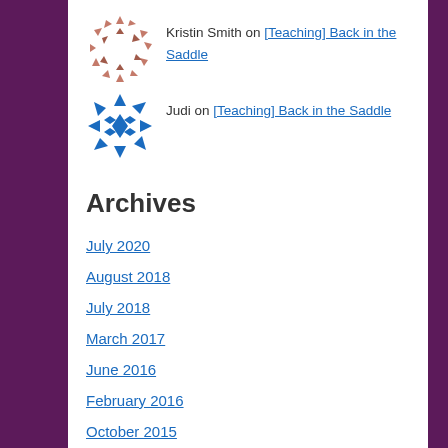Kristin Smith on [Teaching] Back in the Saddle
Judi on [Teaching] Back in the Saddle
Archives
July 2020
August 2018
July 2018
March 2017
June 2016
February 2016
October 2015
August 2015
March 2015